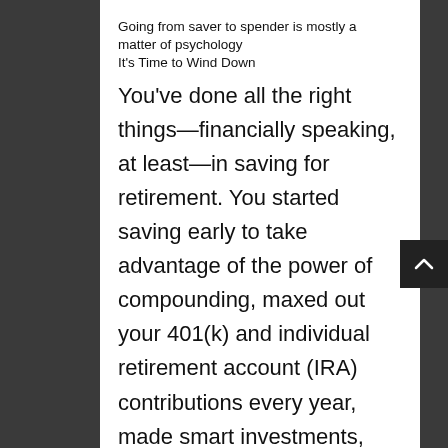Going from saver to spender is mostly a matter of psychology
It's Time to Wind Down
You've done all the right things—financially speaking, at least—in saving for retirement. You started saving early to take advantage of the power of compounding, maxed out your 401(k) and individual retirement account (IRA) contributions every year, made smart investments, squirreled away money into additional savings, paid down debt, and figured out how to maximize your Social Security benefits.
Now what? When do you stop saving and start enjoying the fruits of your labor?
KEY TAKEAWAYS